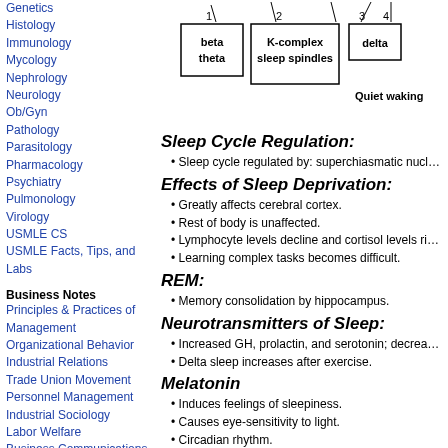Genetics
Histology
Immunology
Mycology
Nephrology
Neurology
Ob/Gyn
Pathology
Parasitology
Pharmacology
Psychiatry
Pulmonology
Virology
USMLE CS
USMLE Facts, Tips, and Labs
Business Notes
Principles & Practices of Management
Organizational Behavior
Industrial Relations
Trade Union Movement
Personnel Management
Industrial Sociology
Labor Welfare
Business Communications
Marketing Management
Product & Operations Management
[Figure (schematic): Sleep stage diagram showing stages 1 (beta, theta), 2 (K-complex, sleep spindles), 3, 4 (delta), and Quiet waking with numbered boxes and connecting lines]
Sleep Cycle Regulation:
Sleep cycle regulated by: superchiasmatic nucleus
Effects of Sleep Deprivation:
Greatly affects cerebral cortex.
Rest of body is unaffected.
Lymphocyte levels decline and cortisol levels rise.
Learning complex tasks becomes difficult.
REM:
Memory consolidation by hippocampus.
Neurotransmitters of Sleep:
Increased GH, prolactin, and serotonin; decreased cortisol.
Delta sleep increases after exercise.
Melatonin
Induces feelings of sleepiness.
Causes eye-sensitivity to light.
Circadian rhythm.